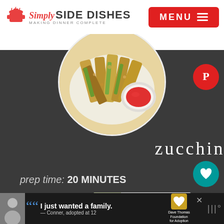Simply SIDE DISHES Making Dinner Complete | MENU
[Figure (photo): Circular food photo showing breaded zucchini fries arranged on a white plate with a small bowl of red dipping sauce]
zucchini fries
prep time: 20 MINUTES
cook time: 25 MINUTES
total time: 45 MINUTES
[Figure (photo): What's Next thumbnail showing sliced zucchini rounds, labeled 'Easy Baked Zucchini...']
WHAT'S NEXT → Easy Baked Zucchini...
Advertisement: I just wanted a family. — Conner, adopted at 12 | Dave Thomas Foundation for Adoption